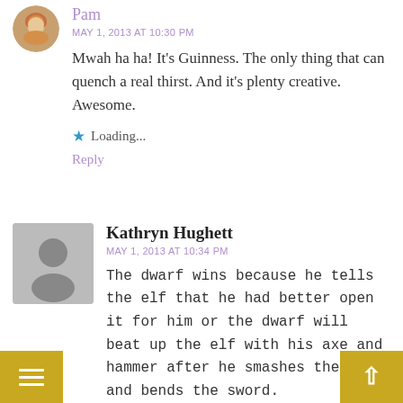[Figure (photo): Small circular avatar photo of Pam, a woman with blond/curly hair]
Pam
MAY 1, 2013 AT 10:30 PM
Mwah ha ha! It's Guinness. The only thing that can quench a real thirst. And it's plenty creative. Awesome.
★ Loading...
Reply
[Figure (photo): Gray placeholder avatar silhouette for Kathryn Hughett]
Kathryn Hughett
MAY 1, 2013 AT 10:34 PM
The dwarf wins because he tells the elf that he had better open it for him or the dwarf will beat up the elf with his axe and hammer after he smashes the bow and bends the sword.
★ Loading...